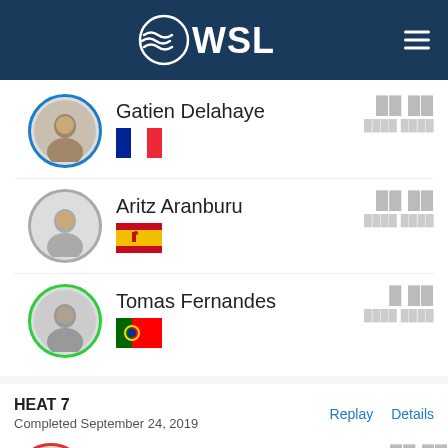[Figure (logo): WSL (World Surf League) logo in white on dark navy header with hamburger menu icon]
Gatien Delahaye
[Figure (illustration): French flag]
Aritz Aranburu
[Figure (illustration): Spanish flag]
Tomas Fernandes
[Figure (illustration): Portuguese flag]
HEAT 7
Completed September 24, 2019
Replay
Details
Jake Marshall
[Figure (illustration): US flag]